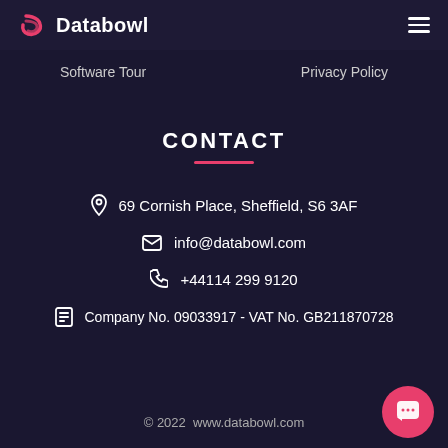Databowl
Software Tour   Privacy Policy
CONTACT
69 Cornish Place, Sheffield, S6 3AF
info@databowl.com
+44114 299 9120
Company No. 09033917 - VAT No. GB211870728
© 2022  www.databowl.com